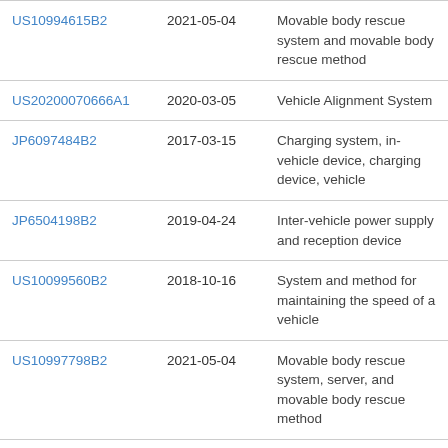| US10994615B2 | 2021-05-04 | Movable body rescue system and movable body rescue method |
| US20200070666A1 | 2020-03-05 | Vehicle Alignment System |
| JP6097484B2 | 2017-03-15 | Charging system, in-vehicle device, charging device, vehicle |
| JP6504198B2 | 2019-04-24 | Inter-vehicle power supply and reception device |
| US10099560B2 | 2018-10-16 | System and method for maintaining the speed of a vehicle |
| US10997798B2 | 2021-05-04 | Movable body rescue system, server, and movable body rescue method |
| US20220126710A1 | 2022-04-28 | Method and apparatus for the electric... |